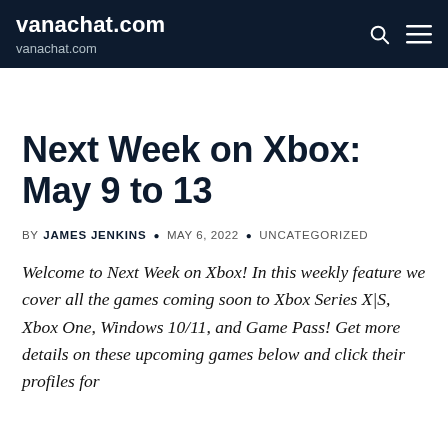vanachat.com
vanachat.com
Next Week on Xbox: May 9 to 13
BY JAMES JENKINS · MAY 6, 2022 · UNCATEGORIZED
Welcome to Next Week on Xbox! In this weekly feature we cover all the games coming soon to Xbox Series X|S, Xbox One, Windows 10/11, and Game Pass! Get more details on these upcoming games below and click their profiles for